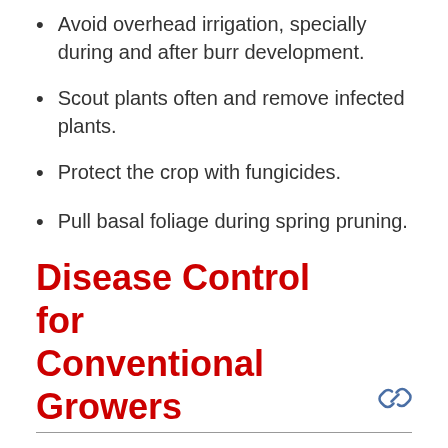Avoid overhead irrigation, specially during and after burr development.
Scout plants often and remove infected plants.
Protect the crop with fungicides.
Pull basal foliage during spring pruning.
Disease Control for Conventional Growers
Application of fungicides is the most effective strategy to control hop downy mildew. Preventive applications should begin if the disease has been reported in the state. Also being applications if spikes are observed. Regardless of the product, it is important to apply them in a way that you achieve good coverage on both sides of the foliage, and